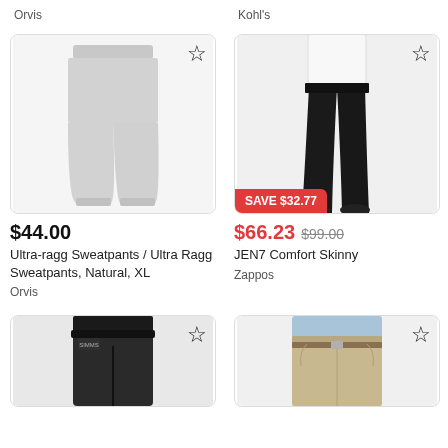Orvis
Kohl's
[Figure (photo): Gray drawstring sweatpants on white background]
[Figure (photo): Woman wearing black skinny pants, cropped view showing torso and legs]
$44.00
$66.23  $99.00 — SAVE $32.77
Ultra-ragg Sweatpants / Ultra Ragg Sweatpants, Natural, XL
JEN7 Comfort Skinny
Orvis
Zappos
[Figure (photo): Dark/black wading pants or outdoor pants, partial view from waist down]
[Figure (photo): Man wearing khaki/beige pants, partial view showing waist and legs]